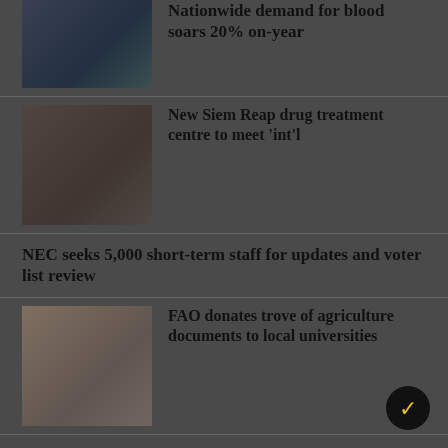Nationwide demand for blood soars 20% on-year
[Figure (photo): Medical scene with healthcare workers and patients in blue tones]
New Siem Reap drug treatment centre to meet 'int'l
[Figure (photo): Group of people holding white papers/signs in a room]
NEC seeks 5,000 short-term staff for updates and voter list review
FAO donates trove of agriculture documents to local universities
[Figure (photo): People gathered around a table reviewing documents]
New Phnom Penh flyovers to break ground by end of